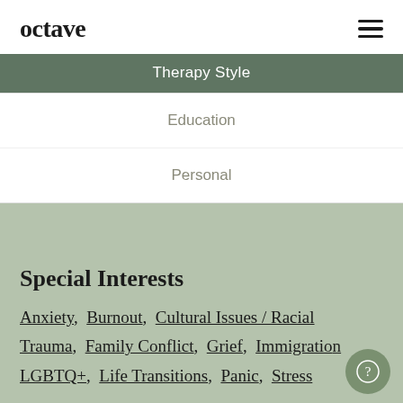octave
Therapy Style
Education
Personal
Special Interests
Anxiety, Burnout, Cultural Issues / Racial Trauma, Family Conflict, Grief, Immigration, LGBTQ+, Life Transitions, Panic, Stress